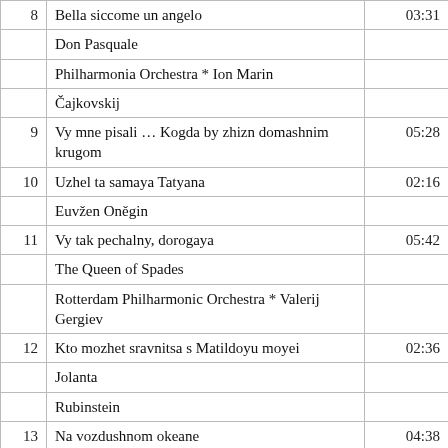| # | Title / Info | Duration |
| --- | --- | --- |
| 8 | Bella siccome un angelo | 03:31 |
|  | Don Pasquale |  |
|  | Philharmonia Orchestra * Ion Marin |  |
|  | Čajkovskij |  |
| 9 | Vy mne pisali … Kogda by zhizn domashnim krugom | 05:28 |
| 10 | Uzhel ta samaya Tatyana | 02:16 |
|  | Euvžen Oněgin |  |
| 11 | Vy tak pechalny, dorogaya | 05:42 |
|  | The Queen of Spades |  |
|  | Rotterdam Philharmonic Orchestra * Valerij Gergiev |  |
| 12 | Kto mozhet sravnitsa s Matildoyu moyei | 02:36 |
|  | Jolanta |  |
|  | Rubinstein |  |
| 13 | Na vozdushnom okeane | 04:38 |
|  | The Demon |  |
|  | Rimskij-Korsakov |  |
| 14 | Gorod kamennyi | 05:12 |